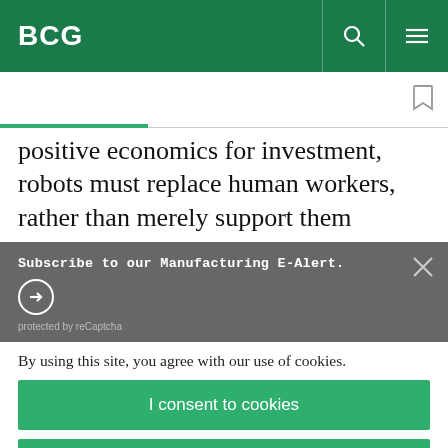BCG
positive economics for investment, robots must replace human workers, rather than merely support them
Subscribe to our Manufacturing E-Alert.
protected by reCaptcha
By using this site, you agree with our use of cookies.
I consent to cookies
Want to know more?
Read our Cookie Policy